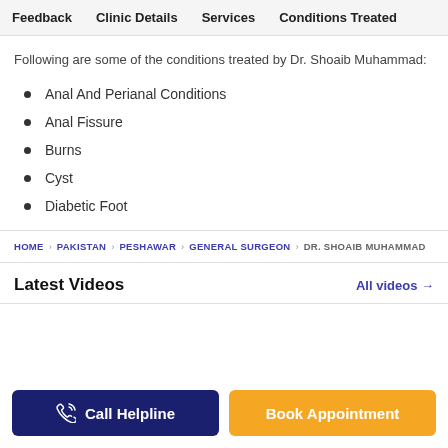Feedback   Clinic Details   Services   Conditions Treated
Following are some of the conditions treated by Dr. Shoaib Muhammad:
Anal And Perianal Conditions
Anal Fissure
Burns
Cyst
Diabetic Foot
HOME > PAKISTAN > PESHAWAR > GENERAL SURGEON > DR. SHOAIB MUHAMMAD
Latest Videos
All videos →